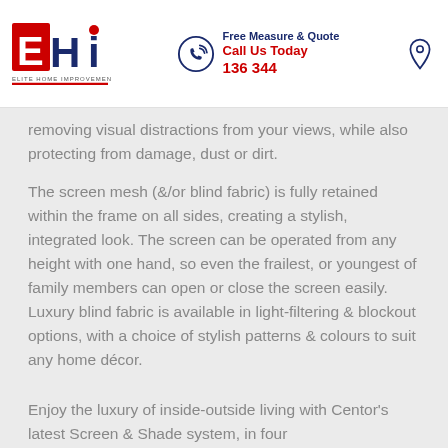EHi Elite Home Improvements | Free Measure & Quote | Call Us Today 136 344
removing visual distractions from your views, while also protecting from damage, dust or dirt.
The screen mesh (&/or blind fabric) is fully retained within the frame on all sides, creating a stylish, integrated look. The screen can be operated from any height with one hand, so even the frailest, or youngest of family members can open or close the screen easily. Luxury blind fabric is available in light-filtering & blockout options, with a choice of stylish patterns & colours to suit any home décor.
Enjoy the luxury of inside-outside living with Centor's latest Screen & Shade system, in four